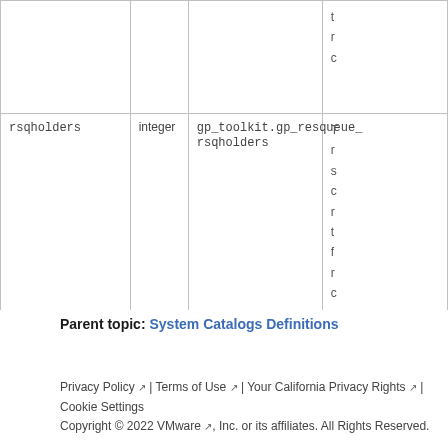| column | type | references | description |
| --- | --- | --- | --- |
|  |  |  | t
r
c |
| rsqholders | integer | gp_toolkit.gp_resqueue_rsqholders | T
r
s
c
r
t
f
r
c |
Parent topic: System Catalogs Definitions
Privacy Policy | Terms of Use | Your California Privacy Rights | Cookie Settings
Copyright © 2022 VMware, Inc. or its affiliates. All Rights Reserved.